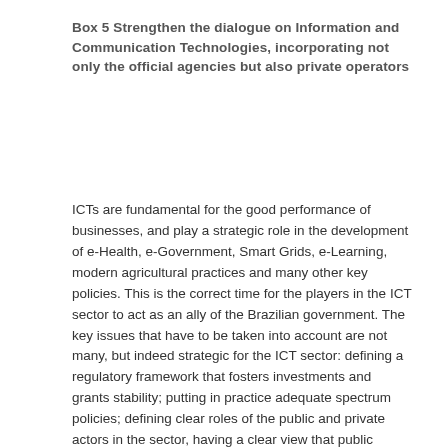Box 5 Strengthen the dialogue on Information and Communication Technologies, incorporating not only the official agencies but also private operators
ICTs are fundamental for the good performance of businesses, and play a strategic role in the development of e-Health, e-Government, Smart Grids, e-Learning, modern agricultural practices and many other key policies. This is the correct time for the players in the ICT sector to act as an ally of the Brazilian government. The key issues that have to be taken into account are not many, but indeed strategic for the ICT sector: defining a regulatory framework that fosters investments and grants stability; putting in practice adequate spectrum policies; defining clear roles of the public and private actors in the sector, having a clear view that public participation in the supply of services should be an exception rather than the rule; suppressing existing restrictions to launch multiple-play convergent offers; and establishing proportionate